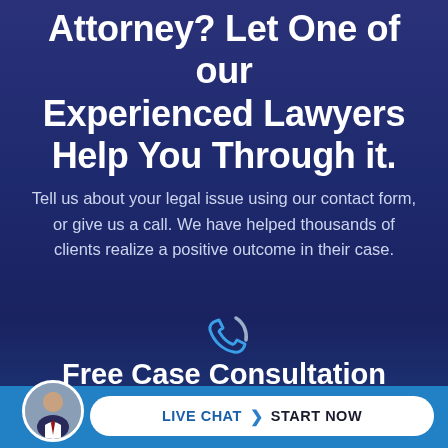Attorney? Let One of our Experienced Lawyers Help You Through it.
Tell us about your legal issue using our contact form, or give us a call. We have helped thousands of clients realize a positive outcome in their case.
[Figure (illustration): Blue phone/call icon outline on dark background]
Free Case Consultation
(800) 923-3456
[Figure (photo): Circular avatar photo of a man in a suit]
LIVE CHAT  START NOW